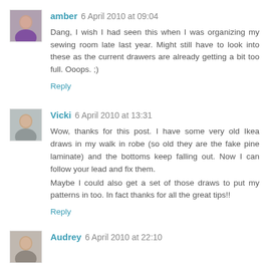[Figure (photo): Avatar photo of commenter amber, a woman in a purple top]
amber 6 April 2010 at 09:04
Dang, I wish I had seen this when I was organizing my sewing room late last year. Might still have to look into these as the current drawers are already getting a bit too full. Ooops. ;)
Reply
[Figure (photo): Avatar photo of commenter Vicki, a person in a grey top]
Vicki 6 April 2010 at 13:31
Wow, thanks for this post. I have some very old Ikea draws in my walk in robe (so old they are the fake pine laminate) and the bottoms keep falling out. Now I can follow your lead and fix them.
Maybe I could also get a set of those draws to put my patterns in too. In fact thanks for all the great tips!!
Reply
[Figure (photo): Avatar photo of commenter Audrey]
Audrey 6 April 2010 at 22:10